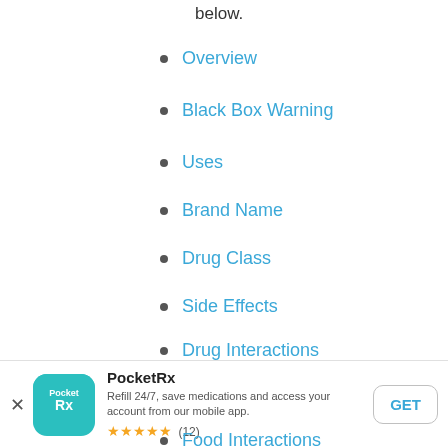below.
Overview
Black Box Warning
Uses
Brand Name
Drug Class
Side Effects
Drug Interactions
Drug Precautions
Food Interactions
Inform MD
Pregnancy
PocketRx
Refill 24/7, save medications and access your account from our mobile app.
★★★★★ (12)